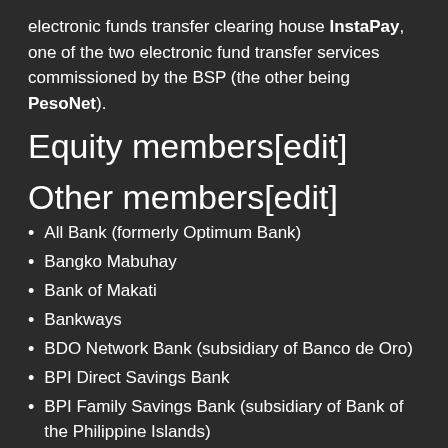electronic funds transfer clearing house InstaPay, one of the two electronic fund transfer services commissioned by the BSP (the other being PesoNet).
Equity members[edit]
Other members[edit]
All Bank (formerly Optimum Bank)
Bangko Mabuhay
Bank of Makati
Bankways
BDO Network Bank (subsidiary of Banco de Oro)
BPI Direct Savings Bank
BPI Family Savings Bank (subsidiary of Bank of the Philippine Islands)
BPI Globe BanKO